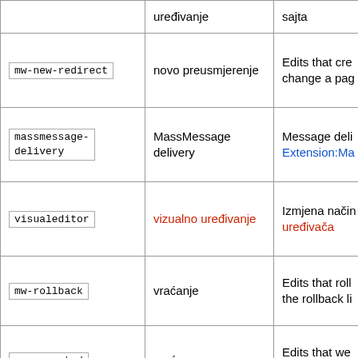| Tag | Prijevod | Opis |
| --- | --- | --- |
| (partial) | uređivanje | sajta |
| mw-new-redirect | novo preusmjerenje | Edits that cre... change a pag... |
| massmessage-delivery | MassMessage delivery | Message deli... Extension:Ma... |
| visualeditor | vizualno uređivanje | Izmjena način... uređivača |
| mw-rollback | vraćanje | Edits that roll... the rollback li... |
| mw-reverted | vraćeno | Edits that we... different edit... |
| mw-changed-redirect-target | izmijenjena odredišna stranica preusmjerenja | Edits that cha... |
| (partial) | (partial) | Edits that... |